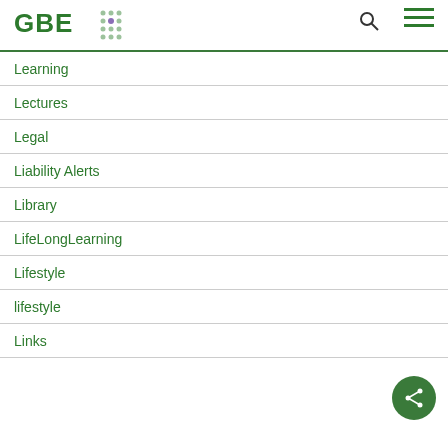GBE
Learning
Lectures
Legal
Liability Alerts
Library
LifeLongLearning
Lifestyle
lifestyle
Links